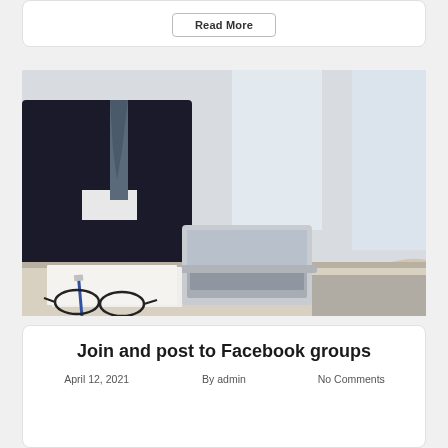Read More
[Figure (photo): Two people shaking hands over a desk with a laptop, pen, paper and glasses visible. One person wears a dark suit with tie, the other wears a light-colored top. Business handshake setting.]
Join and post to Facebook groups
April 12, 2021    By admin    No Comments